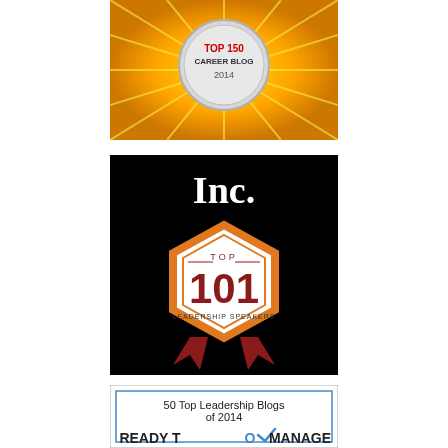[Figure (logo): Top 150 Career Blog 2014 badge with golden sunburst rays and silver medal]
[Figure (logo): Inc. Top 101 Leadership Speakers badge on black background with orange hexagonal award ribbon and dark red ribbon streamers]
[Figure (logo): 50 Top Leadership Blogs of 2014 - Ready To Manage badge with blue checkmark logo]